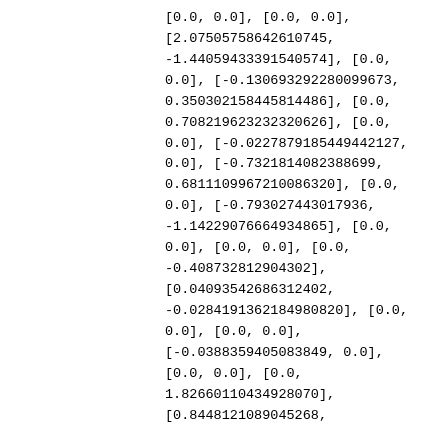[0.0, 0.0], [0.0, 0.0], [2.07505758642610745, -1.44059433391540574], [0.0, 0.0], [-0.130693292280099673, 0.350302158445814486], [0.0, 0.708219623232320626], [0.0, 0.0], [-0.0227879185449442127, 0.0], [-0.732181408238869900, 0.681109967210086320], [0.0, 0.0], [-0.793027443017936, -1.142290764934865], [0.0, 0.0], [0.0, 0.0], [0.0, -0.408732812904302], [0.04093542686312402, -0.0284191362184980820], [0.0, 0.0], [0.0, 0.0], [-0.0388359405083849, 0.0], [0.0, 0.0], [0.0, 1.82660110434928070], [0.8448121089045268,